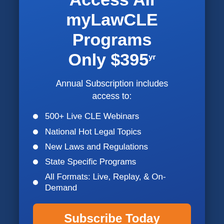Access All myLawCLE Programs Only $395yr
Annual Subscription includes access to:
500+ Live CLE Webinars
National Hot Legal Topics
New Laws and Regulations
State Specific Programs
All Formats: Live, Replay, & On-Demand
Subscribe Today